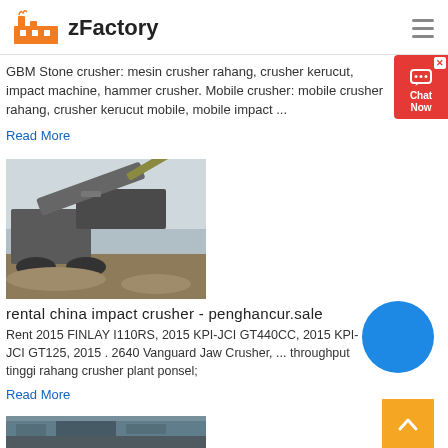zFactory
GBM Stone crusher: mesin crusher rahang, crusher kerucut, impact machine, hammer crusher. Mobile crusher: mobile crusher rahang, crusher kerucut mobile, mobile impact ...
Read More
[Figure (photo): Photo of a mobile impact crusher / crushing plant machine on a job site with excavator in background]
rental china impact crusher - penghancur.sale
Rent 2015 FINLAY I110RS, 2015 KPI-JCI GT440CC, 2015 KPI-JCI GT125, 2015 . 2640 Vanguard Jaw Crusher, ... throughput tinggi rahang crusher plant ponsel;
Read More
[Figure (photo): Partial view of industrial equipment / crusher machine interior]